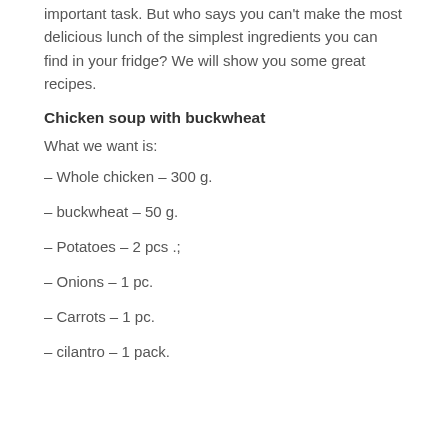important task. But who says you can't make the most delicious lunch of the simplest ingredients you can find in your fridge? We will show you some great recipes.
Chicken soup with buckwheat
What we want is:
– Whole chicken – 300 g.
– buckwheat – 50 g.
– Potatoes – 2 pcs .;
– Onions – 1 pc.
– Carrots – 1 pc.
– cilantro – 1 pack.